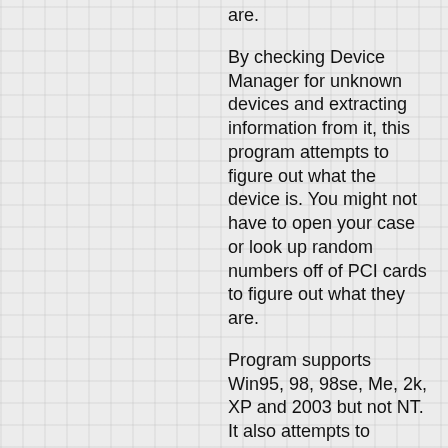are.
By checking Device Manager for unknown devices and extracting information from it, this program attempts to figure out what the device is. You might not have to open your case or look up random numbers off of PCI cards to figure out what they are.
Program supports Win95, 98, 98se, Me, 2k, XP and 2003 but not NT. It also attempts to support future OSes.
It runs fine from a CD or floppy. It's free for personal and (especially) business use. The program contains no adware, spyware,